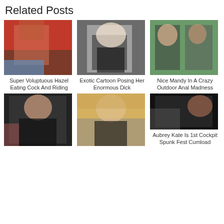Related Posts
[Figure (photo): Photo thumbnail 1 - person in red dress]
[Figure (photo): Photo thumbnail 2 - person in maid costume with umbrella]
[Figure (photo): Photo thumbnail 3 - two people outdoors]
Super Voluptuous Hazel Eating Cock And Riding
Exotic Cartoon Posing Her Enormous Dick
Nice Mandy In A Crazy Outdoor Anal Madness
[Figure (photo): Photo thumbnail 4 - person with curly hair]
[Figure (photo): Photo thumbnail 5 - person in black bikini]
[Figure (photo): Photo thumbnail 6 - dark scene]
Aubrey Kate Is 1st Cockpit Spunk Fest Cumload